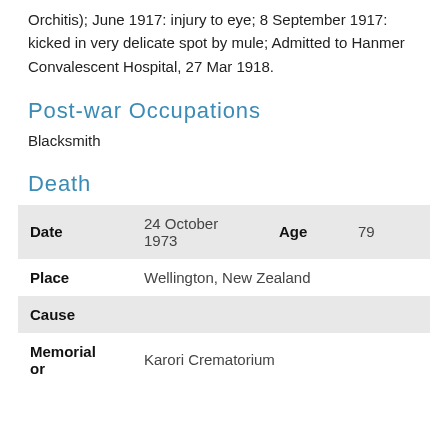Orchitis); June 1917: injury to eye; 8 September 1917: kicked in very delicate spot by mule; Admitted to Hanmer Convalescent Hospital, 27 Mar 1918.
Post-war Occupations
Blacksmith
Death
|  |  |  |
| --- | --- | --- |
| Date | 24 October 1973 | Age | 79 |
| Place | Wellington, New Zealand |  |  |
| Cause |  |  |  |
| Memorial or | Karori Crematorium |  |  |